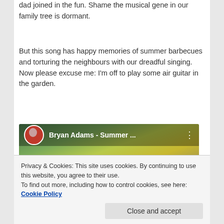dad joined in the fun. Shame the musical gene in our family tree is dormant.
But this song has happy memories of summer barbecues and torturing the neighbours with our dreadful singing. Now please excuse me: I'm off to play some air guitar in the garden.
[Figure (screenshot): YouTube video embed thumbnail for 'Bryan Adams - Summer ...' with red play button overlay and artist avatar in top left corner]
Privacy & Cookies: This site uses cookies. By continuing to use this website, you agree to their use.
To find out more, including how to control cookies, see here: Cookie Policy
Close and accept